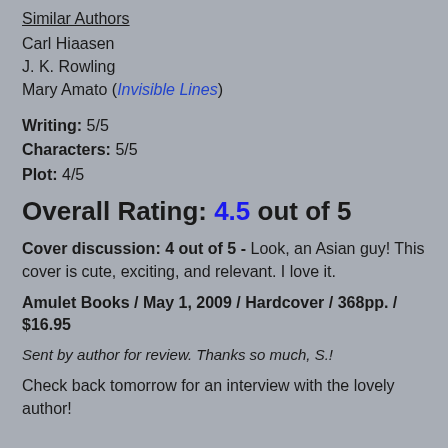Similar Authors
Carl Hiaasen
J. K. Rowling
Mary Amato (Invisible Lines)
Writing: 5/5
Characters: 5/5
Plot: 4/5
Overall Rating: 4.5 out of 5
Cover discussion: 4 out of 5 - Look, an Asian guy! This cover is cute, exciting, and relevant. I love it.
Amulet Books / May 1, 2009 / Hardcover / 368pp. / $16.95
Sent by author for review. Thanks so much, S.!
Check back tomorrow for an interview with the lovely author!